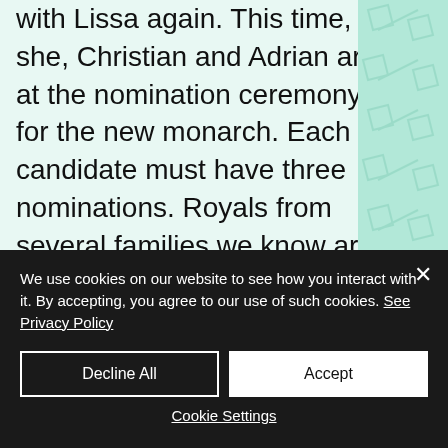with Lissa again. This time, she, Christian and Adrian are at the nomination ceremony for the new monarch. Each candidate must have three nominations. Royals from several families we know are nominated, including the Zelskis, the Badicas and the Ozeras and, of course, the Dragomirs. Wait, really? Yes. Tasha nominates Lissa, it's seconded by Christian and completed by Adrian. Then chaos ensues, just like Victor
We use cookies on our website to see how you interact with it. By accepting, you agree to our use of such cookies. See Privacy Policy
Decline All
Accept
Cookie Settings